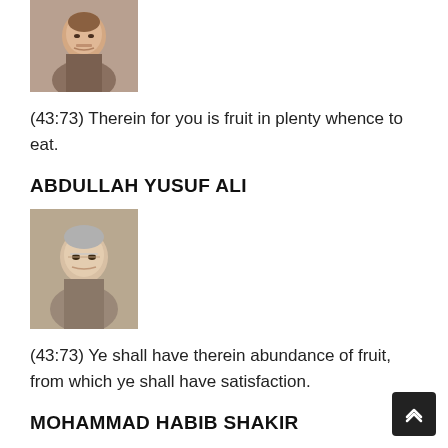[Figure (photo): Black and white portrait photo of a man with mustache in a suit]
(43:73) Therein for you is fruit in plenty whence to eat.
ABDULLAH YUSUF ALI
[Figure (photo): Black and white portrait photo of an elderly man with glasses in a suit]
(43:73) Ye shall have therein abundance of fruit, from which ye shall have satisfaction.
MOHAMMAD HABIB SHAKIR
(43:73) For you therein are many fruits of which you shall eat.